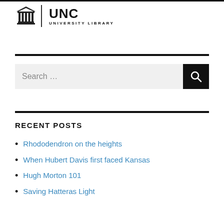[Figure (logo): UNC University Library logo with a classical building/column icon, vertical divider, and text 'UNC' and 'UNIVERSITY LIBRARY']
Search …
RECENT POSTS
Rhododendron on the heights
When Hubert Davis first faced Kansas
Hugh Morton 101
Saving Hatteras Light